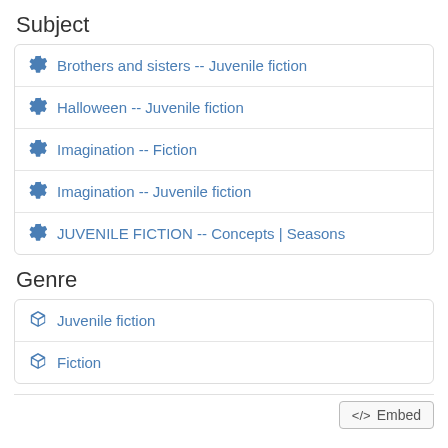Subject
Brothers and sisters -- Juvenile fiction
Halloween -- Juvenile fiction
Imagination -- Fiction
Imagination -- Juvenile fiction
JUVENILE FICTION -- Concepts | Seasons
Genre
Juvenile fiction
Fiction
Embed
Library Locations
Map	Details